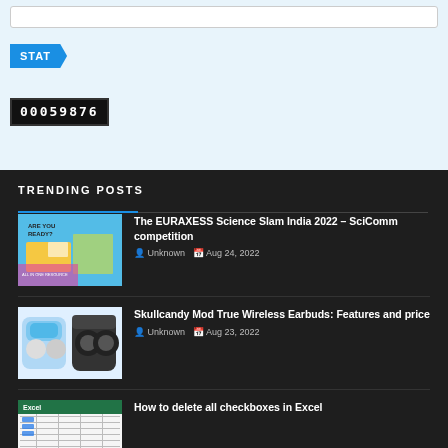[Figure (screenshot): Search bar input field on light blue background]
STAT
00059876
TRENDING POSTS
[Figure (photo): EURAXESS Science Slam India 2022 promotional poster with world map and pop-art style]
The EURAXESS Science Slam India 2022 – SciComm competition
Unknown  Aug 24, 2022
[Figure (photo): Skullcandy Mod True Wireless Earbuds product photo showing earbuds and case]
Skullcandy Mod True Wireless Earbuds: Features and price
Unknown  Aug 23, 2022
[Figure (screenshot): Excel spreadsheet thumbnail]
How to delete all checkboxes in Excel